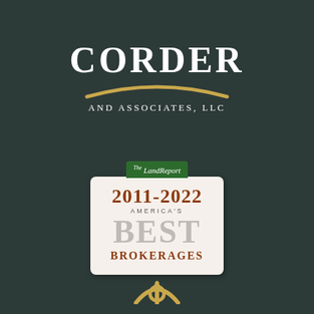[Figure (logo): Corder and Associates LLC company logo with white text 'CORDER' in large serif font, gold arc swoosh below, and 'AND ASSOCIATES, LLC' in white spaced letters on dark green background]
[Figure (logo): The Land Report 2011-2022 America's Best Brokerages badge/award seal on light cream background with green header bar, brown year text, gray 'BEST' text, and brown 'BROKERAGES' text]
[Figure (logo): Partial gold circular arrow/compass icon at the bottom of the page, cut off]